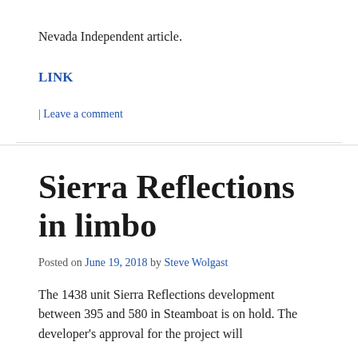Nevada Independent article.
LINK
| Leave a comment
Sierra Reflections in limbo
Posted on June 19, 2018 by Steve Wolgast
The 1438 unit Sierra Reflections development between 395 and 580 in Steamboat is on hold. The developer's approval for the project will